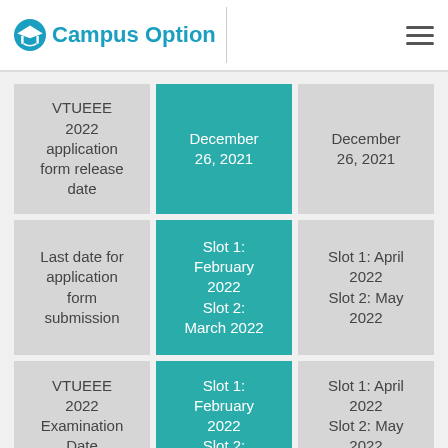Campus Option
| Event | Announced Date | Expected Date |
| --- | --- | --- |
| VTUEEE 2022 application form release date | December 26, 2021 | December 26, 2021 |
| Last date for application form submission | Slot 1: February 2022 Slot 2: March 2022 | Slot 1: April 2022 Slot 2: May 2022 |
| VTUEEE 2022 Examination Date | Slot 1: February 2022 Slot 2: ... | Slot 1: April 2022 Slot 2: May 2022 |